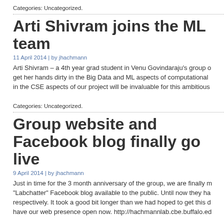Categories: Uncategorized.
Arti Shivram joins the ML team
11 April 2014 | by jhachmann
Arti Shivram – a 4th year grad student in Venu Govindaraju's group get her hands dirty in the Big Data and ML aspects of computational in the CSE aspects of our project will be invaluable for this ambitious
Categories: Uncategorized.
Group website and Facebook blog finally go live
9 April 2014 | by jhachmann
Just in time for the 3 month anniversary of the group, we are finally making the "Labchatter" Facebook blog available to the public. Until now they ha respectively. It took a good bit longer than we had hoped to get this done have our web presence open now. http://hachmannlab.cbe.buffalo.ed
Categories: Infrastructure.
Tags: communication and outreach.